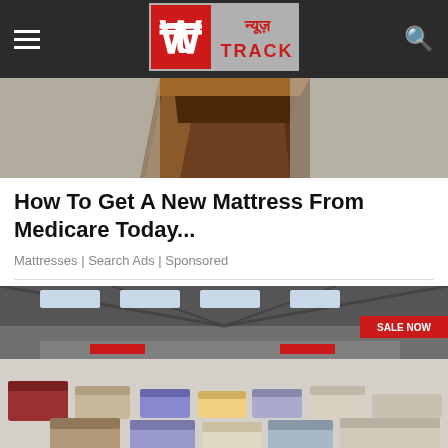न्यूज़ TRACK
[Figure (photo): Close-up photo of a mattress corner showing wooden bed frame in dark cherry/mahogany color with grey/beige fabric mattress on each side]
How To Get A New Mattress From Medicare Today...
Mattresses | Search Ads | Sponsored
[Figure (photo): Interior of a large furniture warehouse/showroom with high ceiling, multiple sofas and couches displayed on the floor in various colors, a red SALE NOW banner visible in the upper right, and upper mezzanine level visible]